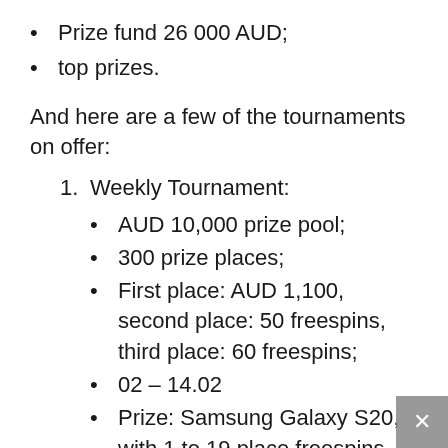Prize fund 26 000 AUD;
top prizes.
And here are a few of the tournaments on offer:
1. Weekly Tournament:
AUD 10,000 prize pool;
300 prize places;
First place: AUD 1,100, second place: 50 freespins, third place: 60 freespins;
02 – 14.02
Prize: Samsung Galaxy S20, with 1 to 19 place freespins with a wager of 1x, the rest freespins with a wager of 45x;
Deposit no less than 30% of the total amount of accrued bonuses.